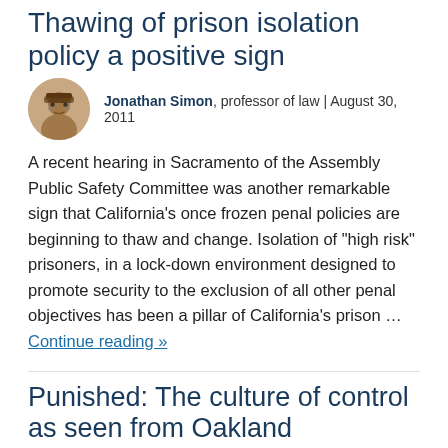Thawing of prison isolation policy a positive sign
Jonathan Simon, professor of law | August 30, 2011
A recent hearing in Sacramento of the Assembly Public Safety Committee was another remarkable sign that California’s once frozen penal policies are beginning to thaw and change. Isolation of “high risk” prisoners, in a lock-down environment designed to promote security to the exclusion of all other penal objectives has been a pillar of California’s prison … Continue reading »
Punished: The culture of control as seen from Oakland
Jonathan Simon, professor of law | August 2, 2011